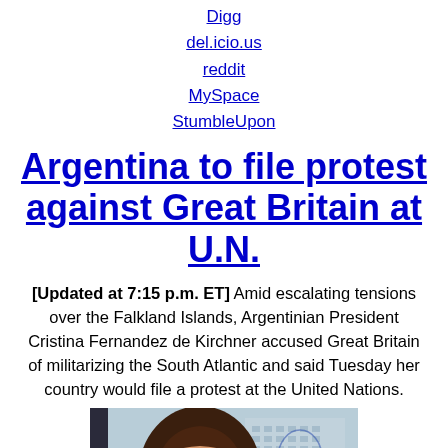Digg
del.icio.us
reddit
MySpace
StumbleUpon
Argentina to file protest against Great Britain at U.N.
[Updated at 7:15 p.m. ET] Amid escalating tensions over the Falkland Islands, Argentinian President Cristina Fernandez de Kirchner accused Great Britain of militarizing the South Atlantic and said Tuesday her country would file a protest at the United Nations.
[Figure (photo): Portrait photo of a woman with dark hair smiling, with a building illustration in the background]